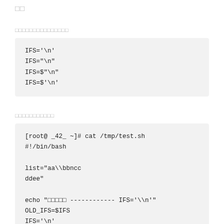□□
□□□□□□□□□□□□□□□
IFS='\n'
IFS="\n"
IFS=$"\n"
IFS=$'\n'
□□□□□□□□□□□
[root@ _42_ ~]# cat /tmp/test.sh
#!/bin/bash

list="aa\\bbncc
ddee"

echo "□□□□□ ------------ IFS='\\n'"
OLD_IFS=$IFS
IFS='\n'